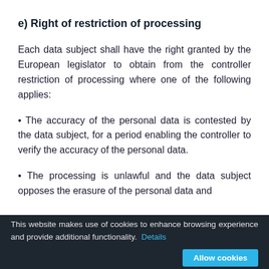e) Right of restriction of processing
Each data subject shall have the right granted by the European legislator to obtain from the controller restriction of processing where one of the following applies:
• The accuracy of the personal data is contested by the data subject, for a period enabling the controller to verify the accuracy of the personal data.
• The processing is unlawful and the data subject opposes the erasure of the personal data and
This website makes use of cookies to enhance browsing experience and provide additional functionality. Details   Allow cookies